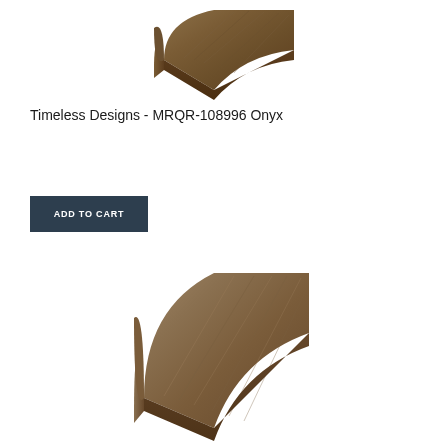[Figure (photo): Quarter round wood molding piece in dark brown/onyx color, angled view showing the rounded profile, positioned at top center of page]
Timeless Designs - MRQR-108996 Onyx
[Figure (other): ADD TO CART button with dark slate background and white text]
[Figure (photo): Quarter round wood molding piece in dark brown/gray color with wood grain texture, angled view showing the rounded profile, positioned at bottom center of page]